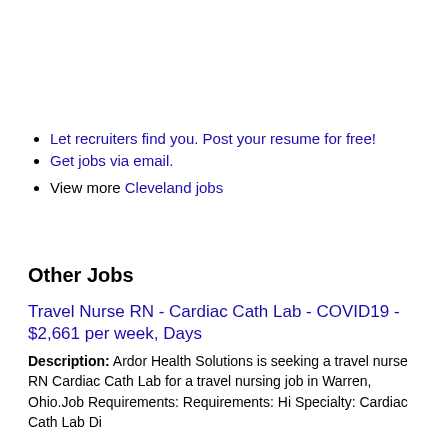Let recruiters find you. Post your resume for free!
Get jobs via email.
View more Cleveland jobs
Other Jobs
Travel Nurse RN - Cardiac Cath Lab - COVID19 - $2,661 per week, Days
Description: Ardor Health Solutions is seeking a travel nurse RN Cardiac Cath Lab for a travel nursing job in Warren, Ohio.Job Requirements: Requirements: Hi Specialty: Cardiac Cath Lab Di...